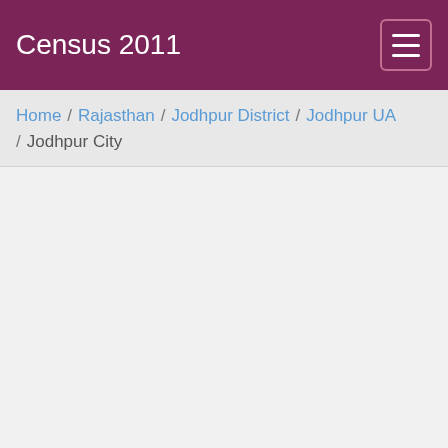Census 2011
Home / Rajasthan / Jodhpur District / Jodhpur UA / Jodhpur City